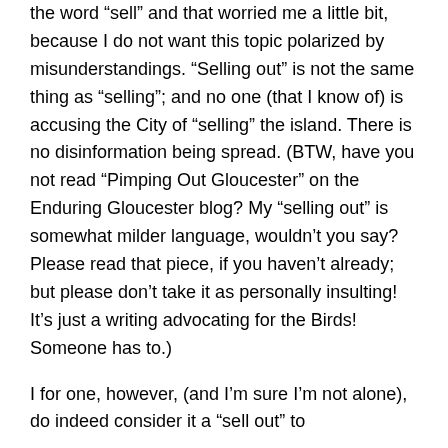the word âsellâ and that worried me a little bit, because I do not want this topic polarized by misunderstandings. âSelling outâ is not the same thing as âsellingâ; and no one (that I know of) is accusing the City of âsellingâ the island. There is no disinformation being spread. (BTW, have you not read âPimping Out Gloucesterâ on the Enduring Gloucester blog? My âselling outâ is somewhat milder language, wouldnât you say? Please read that piece, if you havenât already; but please donât take it as personally insulting! Itâs just a writing advocating for the Birds! Someone has to.)
I for one, however, (and Iâm sure Iâm not alone), do indeed consider it a âsell outâ to